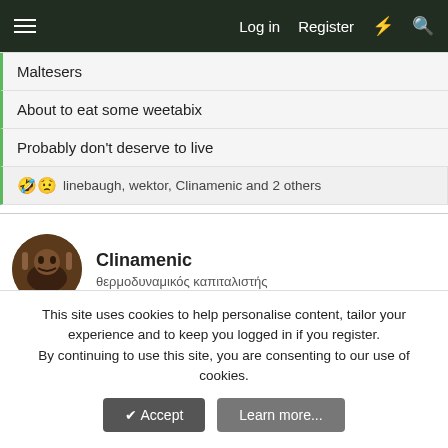Log in  Register
Maltesers
About to eat some weetabix
Probably don't deserve to live
🤣😟 linebaugh, wektor, Clinamenic and 2 others
Clinamenic
θερμοδυναμικός καπιταλιστής
Dec 5, 2021  #22
catalog said: ⊕
This site uses cookies to help personalise content, tailor your experience and to keep you logged in if you register.
By continuing to use this site, you are consenting to our use of cookies.